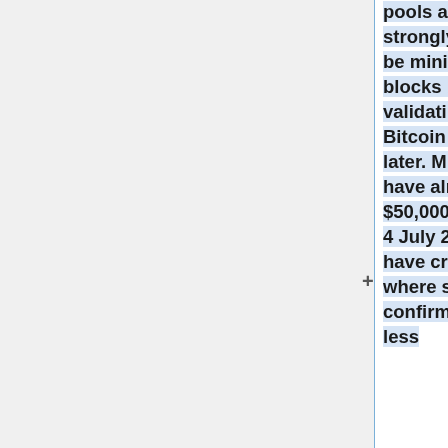pools are known or strongly suspected to be mining on top of blocks before fully validating them with Bitcoin Core 0.9.5 or later. Miners doing this have already lost over $50,000 USD during the 4 July 2015 fork and have created a situation where small numbers of confirmations are much less